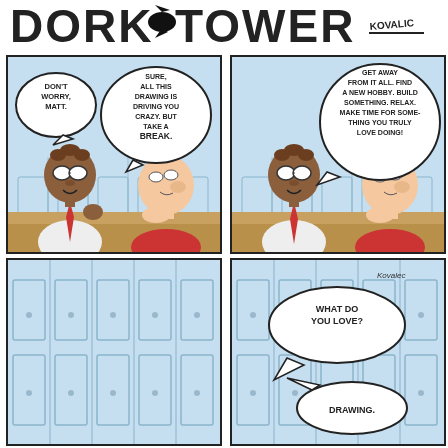[Figure (illustration): Dork Tower comic strip logo at top, showing stylized block letters 'DORK TOWER' with author name 'Kovalic' in top right]
[Figure (illustration): Panel 1: Two cartoon characters - a dark-skinned character with glasses and red tie speaking 'DON'T WORRY, MATT.' and another bubble 'SURE, ALL THIS DRAWING IS DRIVING YOU CRAZY. BUT TAKE A BREAK.' A pale character in red shirt listens.]
[Figure (illustration): Panel 2: Same two characters. First character says 'GET AWAY FROM IT ALL. FIND A NEW HOBBY. BUILD SOMETHING. RELAX. MAKE TIME FOR SOMETHING YOU TRULY LOVE DOING!' with TRULY and LOVE DOING in bold.]
[Figure (illustration): Panel 3: Empty panel showing locker room background with lockers, a small dot/circle visible in center.]
[Figure (illustration): Panel 4: Same background. Speech bubble from off-panel 'WHAT DO YOU LOVE?' and response bubble 'DRAWING.' Kovalic signature in top right corner.]